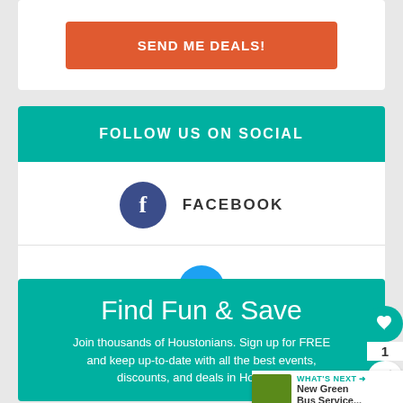[Figure (other): Orange button labeled SEND ME DEALS!]
FOLLOW US ON SOCIAL
[Figure (logo): Facebook circle icon with f logo]
FACEBOOK
[Figure (logo): Twitter circle icon with bird logo]
Find Fun & Save
Join thousands of Houstonians. Sign up for FREE and keep up-to-date with all the best events, discounts, and deals in Houston!